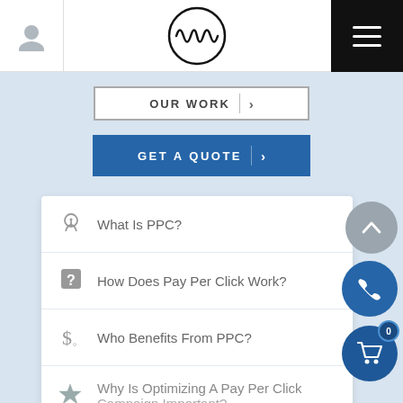[Figure (screenshot): Website header with user icon on left, circular logo with soundwave in center, black hamburger menu button on right]
[Figure (screenshot): OUR WORK button with border and arrow]
[Figure (screenshot): GET A QUOTE blue button with arrow]
What Is PPC?
How Does Pay Per Click Work?
Who Benefits From PPC?
Why Is Optimizing A Pay Per Click Campaign Important?